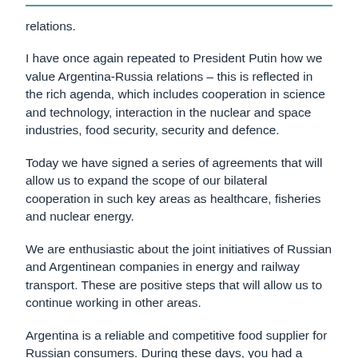relations.
I have once again repeated to President Putin how we value Argentina-Russia relations – this is reflected in the rich agenda, which includes cooperation in science and technology, interaction in the nuclear and space industries, food security, security and defence.
Today we have signed a series of agreements that will allow us to expand the scope of our bilateral cooperation in such key areas as healthcare, fisheries and nuclear energy.
We are enthusiastic about the joint initiatives of Russian and Argentinean companies in energy and railway transport. These are positive steps that will allow us to continue working in other areas.
Argentina is a reliable and competitive food supplier for Russian consumers. During these days, you had a chance